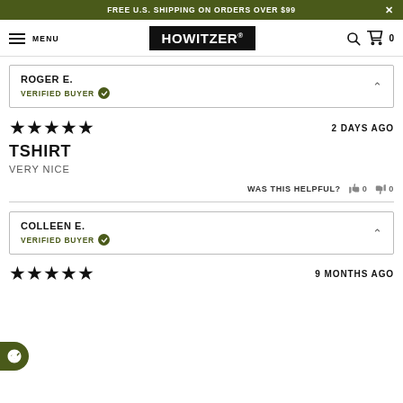FREE U.S. SHIPPING ON ORDERS OVER $99
[Figure (logo): HOWITZER® brand logo in white text on black background, with hamburger menu, search icon, and cart icon (0 items)]
ROGER E. — VERIFIED BUYER
★★★★★   2 DAYS AGO
TSHIRT
VERY NICE
WAS THIS HELPFUL?  👍 0  👎 0
COLLEEN E. — VERIFIED BUYER
★★★★★   9 MONTHS AGO